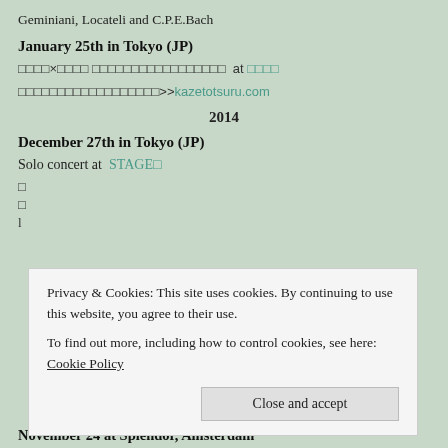Geminiani, Locateli and C.P.E.Bach
January 25th in Tokyo (JP)
□□□□×□□□□ □□□□□□□□□□□□□□□□□  at □□□□
□□□□□□□□□□□□□□□□□□>>kazetotsuru.com
2014
December 27th in Tokyo (JP)
Solo concert at  STAGE□
□
□
l
Privacy & Cookies: This site uses cookies. By continuing to use this website, you agree to their use.
To find out more, including how to control cookies, see here: Cookie Policy
Close and accept
November 24 at Splendor, Amsterdam